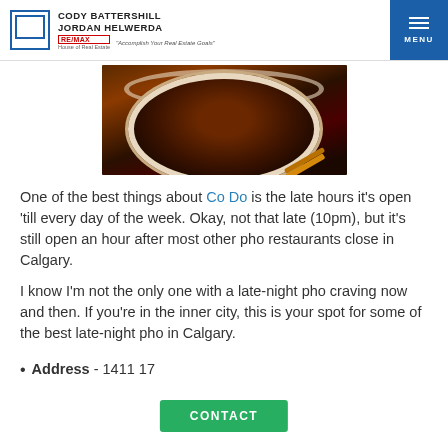CODY BATTERSHILL JORDAN HELWERDA RE/MAX House of Real Estate "Accomplish Your Real Estate Goals" MENU
[Figure (photo): Overhead photo of a bowl of pho soup on a dark surface with chopsticks visible at the bottom right]
One of the best things about Co Do is the late hours it's open 'till every day of the week. Okay, not that late (10pm), but it's still open an hour after most other pho restaurants close in Calgary.
I know I'm not the only one with a late-night pho craving now and then. If you're in the inner city, this is your spot for some of the best late-night pho in Calgary.
Address - 1411 17
CONTACT